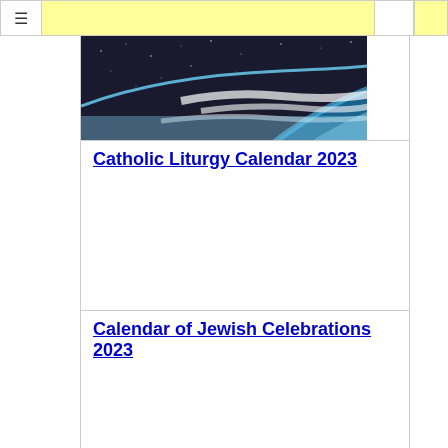☰
[Figure (photo): Photograph of Earth from space showing the curve of the planet with blue atmosphere, white clouds, and dark space with stars in the background.]
Catholic Liturgy Calendar 2023
Calendar of Jewish Celebrations 2023